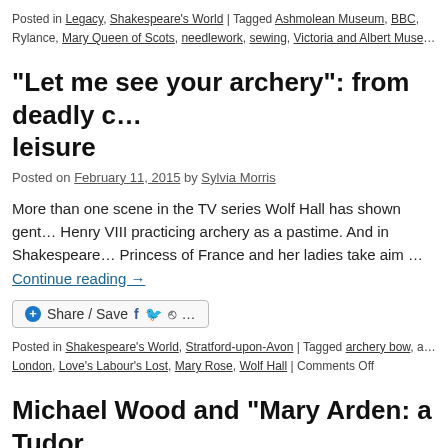Posted in Legacy, Shakespeare's World | Tagged Ashmolean Museum, BBC, Rylance, Mary Queen of Scots, needlework, sewing, Victoria and Albert Muse...
“Let me see your archery”: from deadly c... leisure
Posted on February 11, 2015 by Sylvia Morris
More than one scene in the TV series Wolf Hall has shown gent... Henry VIII practicing archery as a pastime. And in Shakespeare... Princess of France and her ladies take aim … Continue reading →
[Figure (other): Share / Save button with Facebook, Twitter and share icons]
Posted in Shakespeare's World, Stratford-upon-Avon | Tagged archery bow, a... London, Love's Labour's Lost, Mary Rose, Wolf Hall | Comments Off
Michael Wood and “Mary Arden: a Tudor...
Posted on February 8, 2015 by Sylvia Morris